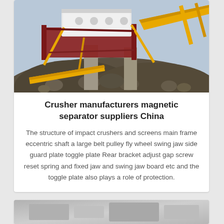[Figure (photo): Industrial crusher and screening plant with yellow conveyor belts, red structural frame, concrete pillars, and large pile of crushed rock/ore in the foreground. Sky visible in background.]
Crusher manufacturers magnetic separator suppliers China
The structure of impact crushers and screens main frame eccentric shaft a large belt pulley fly wheel swing jaw side guard plate toggle plate Rear bracket adjust gap screw reset spring and fixed jaw and swing jaw board etc and the toggle plate also plays a role of protection.
[Figure (photo): Second industrial machinery photo, partially visible at bottom of page — appears grey/silver metallic equipment.]